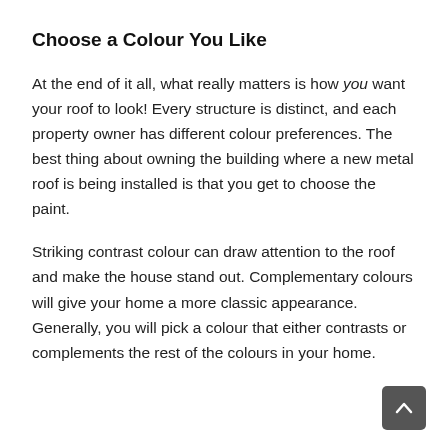Choose a Colour You Like
At the end of it all, what really matters is how you want your roof to look! Every structure is distinct, and each property owner has different colour preferences. The best thing about owning the building where a new metal roof is being installed is that you get to choose the paint.
Striking contrast colour can draw attention to the roof and make the house stand out. Complementary colours will give your home a more classic appearance. Generally, you will pick a colour that either contrasts or complements the rest of the colours in your home.